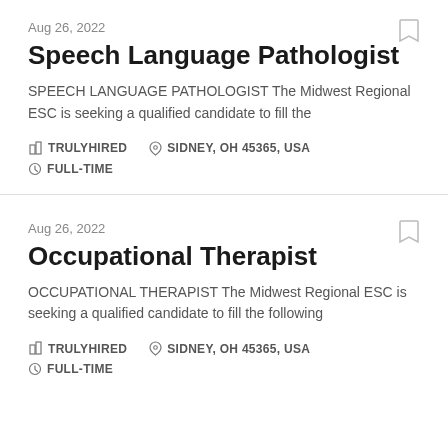Aug 26, 2022
Speech Language Pathologist
SPEECH LANGUAGE PATHOLOGIST The Midwest Regional ESC is seeking a qualified candidate to fill the
TRULYHIRED   SIDNEY, OH 45365, USA   FULL-TIME
Aug 26, 2022
Occupational Therapist
OCCUPATIONAL THERAPIST The Midwest Regional ESC is seeking a qualified candidate to fill the following
TRULYHIRED   SIDNEY, OH 45365, USA   FULL-TIME